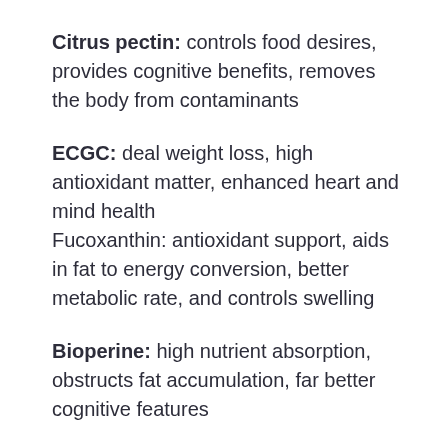Citrus pectin: controls food desires, provides cognitive benefits, removes the body from contaminants
ECGC: deal weight loss, high antioxidant matter, enhanced heart and mind health
Fucoxanthin: antioxidant support, aids in fat to energy conversion, better metabolic rate, and controls swelling
Bioperine: high nutrient absorption, obstructs fat accumulation, far better cognitive features
These ingredients have actually verified advantages for health and wellness, as well as